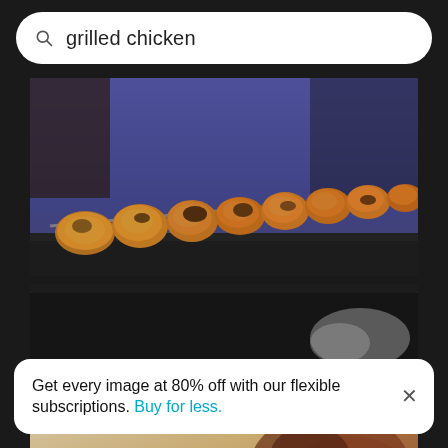grilled chicken
[Figure (photo): Close-up of marinated chicken skewers on a barbecue grill with dark grill grates, blue background, bokeh effect]
Close-up of meat on barbecue grill
[Figure (photo): Partial view of a second food photo — grilled/cooked food on a tray]
Get every image at 80% off with our flexible subscriptions. Buy for less.